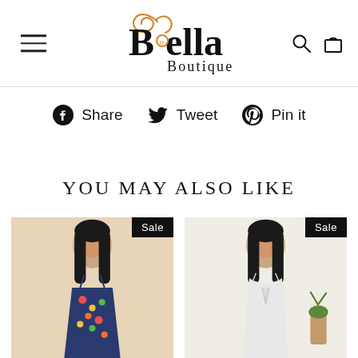[Figure (logo): Bella Boutique logo with decorative script and serif letterforms, featuring an orange/gold swirl accent]
Share   Tweet   Pin it
YOU MAY ALSO LIKE
[Figure (photo): Model wearing a floral spaghetti-strap dress, with a Sale badge in the top right corner]
[Figure (photo): Model wearing a white tie-front spaghetti-strap top, with a Sale badge in the top right corner]